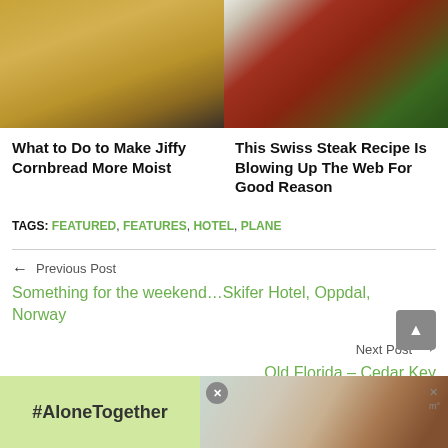[Figure (photo): Close-up photo of golden yellow cornbread texture]
[Figure (photo): Close-up photo of Swiss steak with red sauce and green herbs]
What to Do to Make Jiffy Cornbread More Moist
This Swiss Steak Recipe Is Blowing Up The Web For Good Reason
TAGS: FEATURED, FEATURES, HOTEL, PLANE
← Previous Post
Something for the weekend…Skifer Hotel, Oppdal, Norway
Next Post →
Old Florida – Cedar Key
[Figure (photo): Advertisement banner: #AloneTogether with family photo]